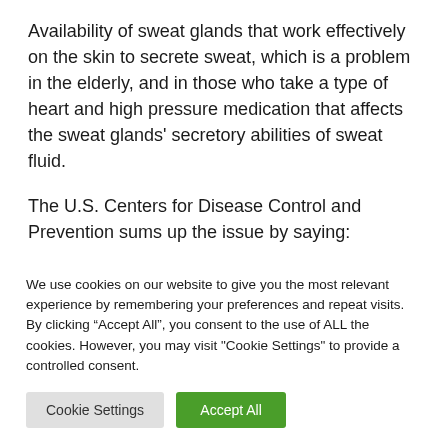Availability of sweat glands that work effectively on the skin to secrete sweat, which is a problem in the elderly, and in those who take a type of heart and high pressure medication that affects the sweat glands' secretory abilities of sweat fluid.
The U.S. Centers for Disease Control and Prevention sums up the issue by saying:
We use cookies on our website to give you the most relevant experience by remembering your preferences and repeat visits. By clicking “Accept All”, you consent to the use of ALL the cookies. However, you may visit "Cookie Settings" to provide a controlled consent.